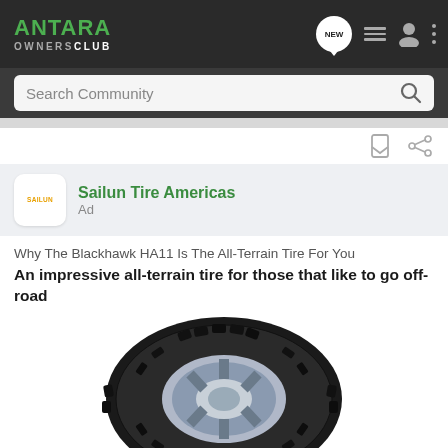ANTARA OWNERS CLUB
Search Community
Sailun Tire Americas
Ad
Why The Blackhawk HA11 Is The All-Terrain Tire For You
An impressive all-terrain tire for those that like to go off-road
[Figure (photo): A Blackhawk HA11 all-terrain tire photographed from the side, showing aggressive tread pattern with chunky blocks and deep grooves, mounted on a silver wheel/rim, shown at an angle on white background]